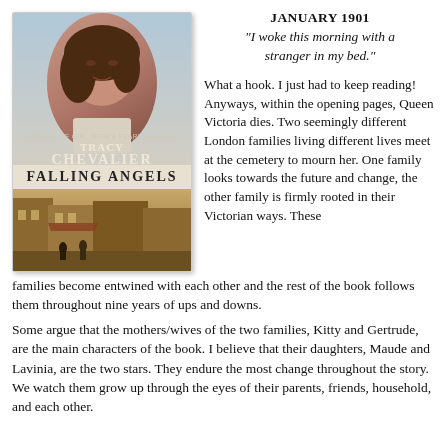[Figure (illustration): Book cover of 'Falling Angels' by Tracy Chevalier. Author of Girl with a Pearl Earring. Shows a woman's face at top and a Victorian street scene at bottom.]
JANUARY 1901
"I woke this morning with a stranger in my bed."
What a hook. I just had to keep reading! Anyways, within the opening pages, Queen Victoria dies. Two seemingly different London families living different lives meet at the cemetery to mourn her. One family looks towards the future and change, the other family is firmly rooted in their Victorian ways. These families become entwined with each other and the rest of the book follows them throughout nine years of ups and downs.
Some argue that the mothers/wives of the two families, Kitty and Gertrude, are the main characters of the book. I believe that their daughters, Maude and Lavinia, are the two stars. They endure the most change throughout the story. We watch them grow up through the eyes of their parents, friends, household, and each other.